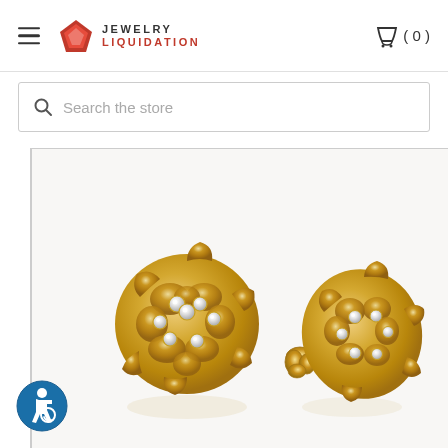Jewelry Liquidation — navigation header with hamburger menu and cart (0)
Search the store
[Figure (photo): Two gold nugget stud earrings with cubic zirconia stones shown from front and side/back angle, set against a white/light background. The earrings are yellow gold with a domed cluster design featuring sparkly white stones.]
[Figure (logo): Accessibility/wheelchair user logo — blue circular badge with white wheelchair symbol]